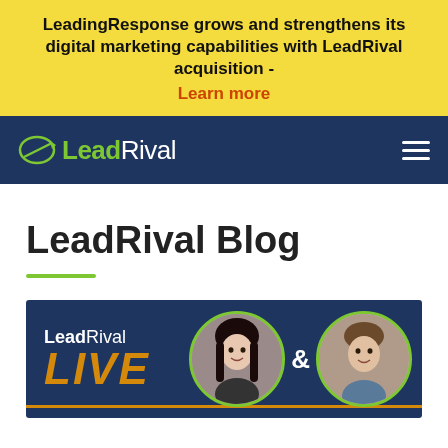LeadingResponse grows and strengthens its digital marketing capabilities with LeadRival acquisition - Learn more
[Figure (logo): LeadRival logo in white and green on dark navy navigation bar with hamburger menu icon]
LeadRival Blog
[Figure (illustration): LeadRival LIVE banner with two circular portrait photos of women on dark navy background with orange LIVE text and orange underline]